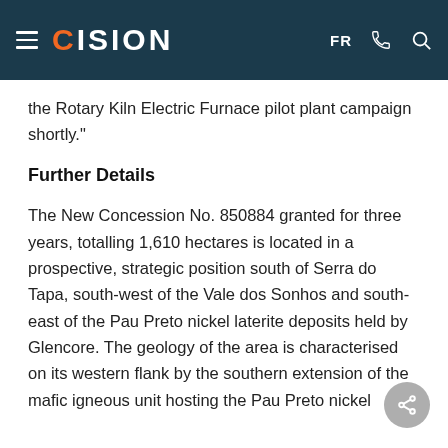CISION  FR
the Rotary Kiln Electric Furnace pilot plant campaign shortly."
Further Details
The New Concession No. 850884 granted for three years, totalling 1,610 hectares is located in a prospective, strategic position south of Serra do Tapa, south-west of the Vale dos Sonhos and south-east of the Pau Preto nickel laterite deposits held by Glencore. The geology of the area is characterised on its western flank by the southern extension of the mafic igneous unit hosting the Pau Preto nickel